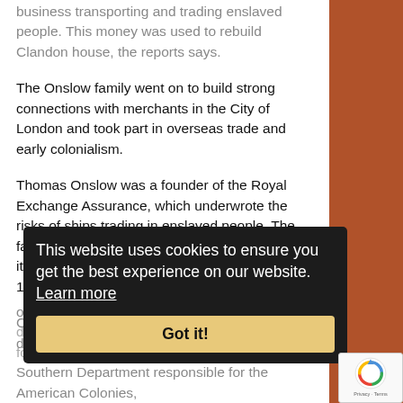business transporting and trading enslaved people. This money was used to rebuild Clandon house, the reports says.
The Onslow family went on to build strong connections with merchants in the City of London and took part in overseas trade and early colonialism.
Thomas Onslow was a founder of the Royal Exchange Assurance, which underwrote the risks of ships trading in enslaved people. The family managed their plantation remotely until it was sold by the 3rd Earl of Onslow around 1832, the report continued.
Clandon Park clad in scaffolding following the devastating
[Figure (screenshot): Cookie consent dialog box with dark background. Text reads: 'This website uses cookies to ensure you get the best experience on our website. Learn more' with a gold 'Got it!' button.]
olles: d fo Southern Department responsible for the American Colonies,